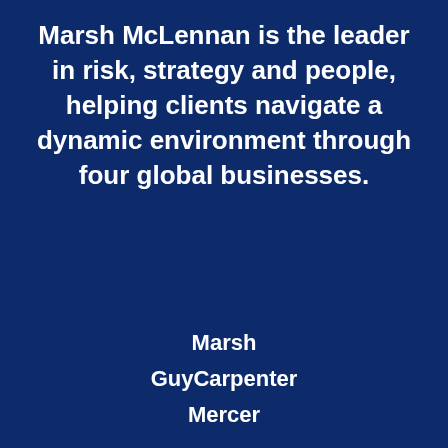Marsh McLennan is the leader in risk, strategy and people, helping clients navigate a dynamic environment through four global businesses.
Marsh
GuyCarpenter
Mercer
We use cookies to optimize the performance of this site and give you the best user experience. By using [this site] [you accept] our use of cookies.
[Figure (other): Social media icons: Facebook, Twitter, YouTube, LinkedIn - displayed as circular gray buttons]
Okay
Manage Cookies